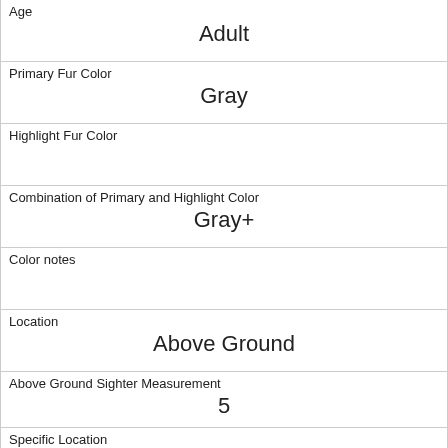| Age | Adult |
| Primary Fur Color | Gray |
| Highlight Fur Color |  |
| Combination of Primary and Highlight Color | Gray+ |
| Color notes |  |
| Location | Above Ground |
| Above Ground Sighter Measurement | 5 |
| Specific Location |  |
| Running | 1 |
| Chasing | 0 |